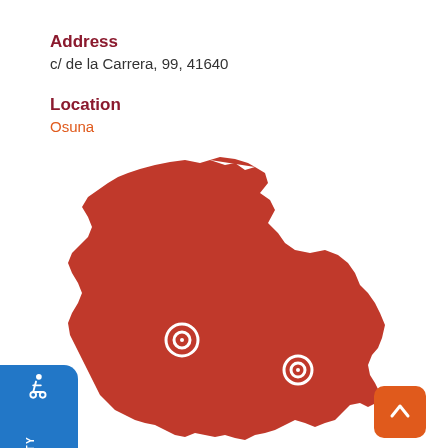Address
c/ de la Carrera, 99, 41640
Location
Osuna
[Figure (map): Red-filled map of the Seville province (Spain) with two circular location markers. A blue 'Accessibility Options' tab with wheelchair icon is on the left side. An orange 'back to top' button is in the bottom right.]